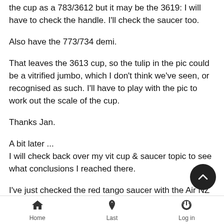the cup as a 783/3612 but it may be the 3619: I will have to check the handle. I'll check the saucer too.
Also have the 773/734 demi.
That leaves the 3613 cup, so the tulip in the pic could be a vitrified jumbo, which I don't think we've seen, or recognised as such. I'll have to play with the pic to work out the scale of the cup.
Thanks Jan.
A bit later ...
I will check back over my vit cup & saucer topic to see what conclusions I reached there.
I've just checked the red tango saucer with the Air NZ type c... and it is a simple coupe, slightly wider and flatter than the 739
Home   Last   Log in